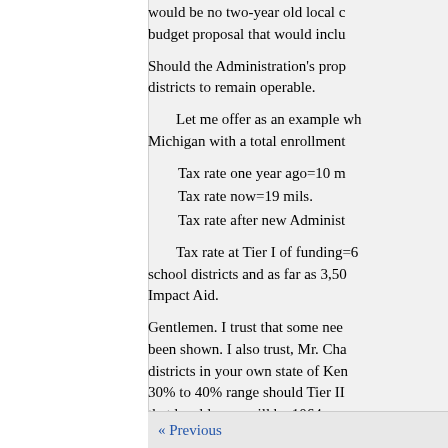would be no two-year old local budget proposal that would inclu
Should the Administration's prop districts to remain operable.
Let me offer as an example wh Michigan with a total enrollment
Tax rate one year ago=10 m
Tax rate now=19 mils.
Tax rate after new Administ
Tax rate at Tier I of funding=6 school districts and as far as 3,50 Impact Aid.
Gentlemen. I trust that some nee been shown. I also trust, Mr. Cha districts in your own state of Ken 30% to 40% range should Tier II that level losses will be 1064, or
Thank you, Mr. Chairman, for yo further assistance to the Committ
« Previous